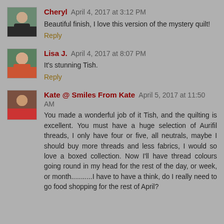Cheryl April 4, 2017 at 3:12 PM
Beautiful finish, I love this version of the mystery quilt!
Reply
Lisa J. April 4, 2017 at 8:07 PM
It's stunning Tish.
Reply
Kate @ Smiles From Kate April 5, 2017 at 11:50 AM
You made a wonderful job of it Tish, and the quilting is excellent. You must have a huge selection of Aurifil threads, I only have four or five, all neutrals, maybe I should buy more threads and less fabrics, I would so love a boxed collection. Now I'll have thread colours going round in my head for the rest of the day, or week, or month...........I have to have a think, do I really need to go food shopping for the rest of April?